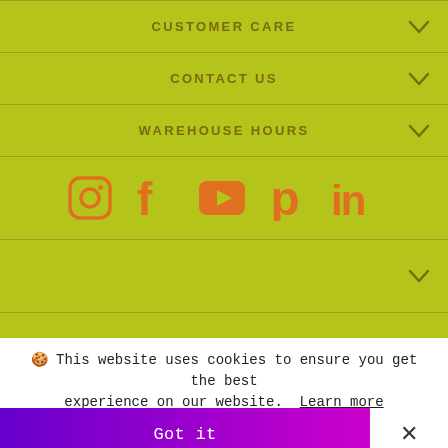CUSTOMER CARE
CONTACT US
WAREHOUSE HOURS
[Figure (infographic): Social media icons: Instagram, Facebook, YouTube, Pinterest, LinkedIn in orange color]
🍪 This website uses cookies to ensure you get the best experience on our website. Learn more
Got it
×